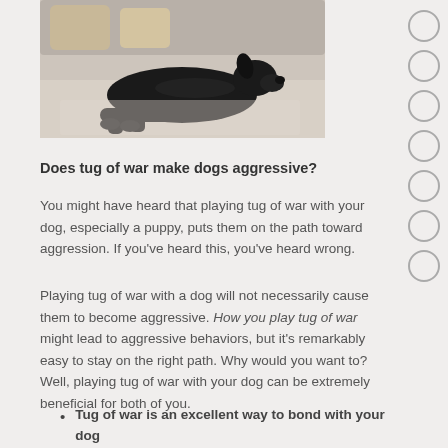[Figure (photo): A black dog lying on a light-colored rug in a living room setting, photographed from the front/side.]
Does tug of war make dogs aggressive?
You might have heard that playing tug of war with your dog, especially a puppy, puts them on the path toward aggression. If you've heard this, you've heard wrong.
Playing tug of war with a dog will not necessarily cause them to become aggressive. How you play tug of war might lead to aggressive behaviors, but it's remarkably easy to stay on the right path. Why would you want to? Well, playing tug of war with your dog can be extremely beneficial for both of you.
Tug of war is an excellent way to bond with your dog
Tug of war lets your dog tap into their natural instincts to